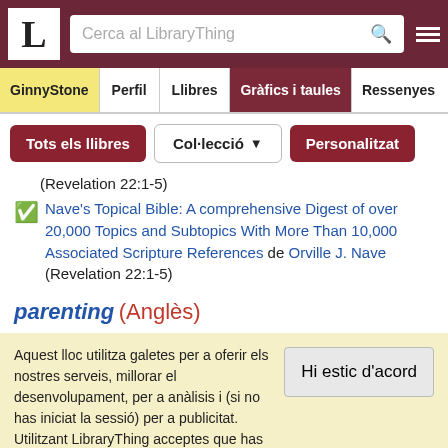L | Cerca al LibraryThing
GinnyStone | Perfil | Llibres | Gràfics i taules | Ressenyes
Tots els llibres | Col·lecció | Personalitzat
(Revelation 22:1-5)
Nave's Topical Bible: A comprehensive Digest of over 20,000 Topics and Subtopics With More Than 10,000 Associated Scripture References de Orville J. Nave (Revelation 22:1-5)
parenting (Anglès)
Aquest lloc utilitza galetes per a oferir els nostres serveis, millorar el desenvolupament, per a anàlisis i (si no has iniciat la sessió) per a publicitat. Utilitzant LibraryThing acceptes que has llegit i entès els nostres Termes de servei i politica de privacitat. L'ús que facis del lloc i dels seus serveis està subjecte a aquestes politiques i termes.